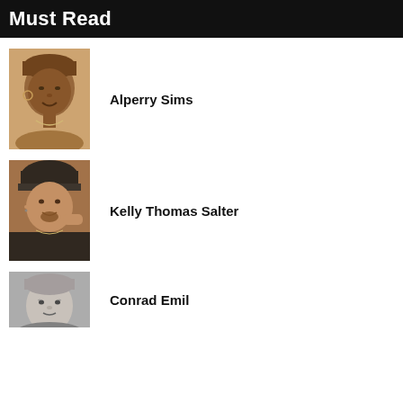Must Read
[Figure (photo): Portrait photo of Alperry Sims, an older woman smiling, warm sepia-toned photograph]
Alperry Sims
[Figure (photo): Portrait photo of Kelly Thomas Salter, a young man wearing a black beanie hat, smiling]
Kelly Thomas Salter
[Figure (photo): Portrait photo of Conrad Emil, black and white photograph of an older man]
Conrad Emil